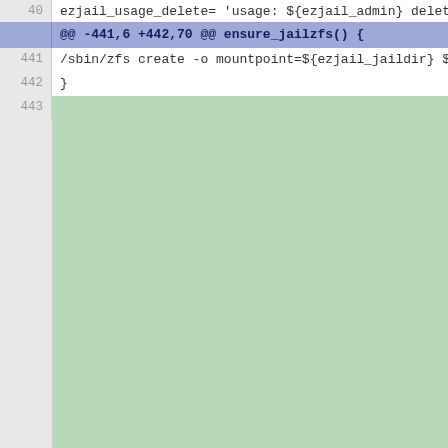[Figure (screenshot): A diff view showing a code change in a shell script. The top partially visible line (~40) shows: ezjail_usage_delete= 'usage: ${ezjail_admin} delete [-wf] jail...'. Below is a hunk header '@@ -441,6 +442,70 @@ ensure_jailzfs() {'. Line 441 shows: /sbin/zfs create -o mountpoint=${ezjail_jaildir} ${ezjail_z... Line 442 shows: }. Line 443 is empty. The remainder of the view is a large green-filled added block.]